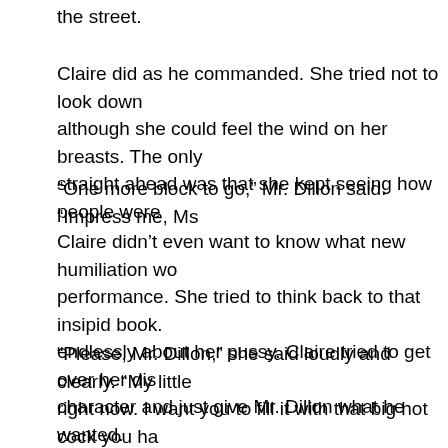the street.
Claire did as he commanded. She tried not to look down although she could feel the wind on her breasts. The only straight ahead was that she kept seeing how people were
“One more block to go,” Mr. Dillon said. “Impress me, Ms
Claire didn’t even want to know what new humiliation wo performance. She tried to think back to that insipid book. endlessly about her pussy. Claire tried to get over her dis character and just give Mr. Dillon what he wanted.
“Please, Mr. Dillon,” she said loudly and clearly. “My little right now. I want you to fill it with that big hot cock you ha it right in me till I come all over it. Fuck me from behind, f top, or fuck me any way you want, just fuck my biff until y